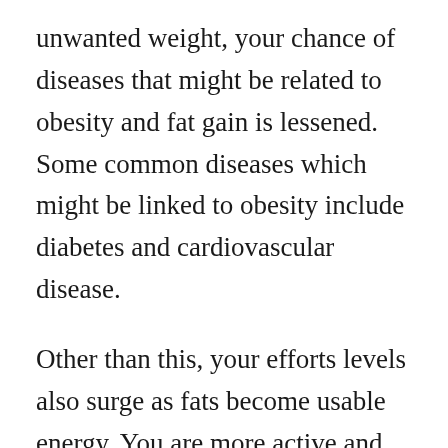unwanted weight, your chance of diseases that might be related to obesity and fat gain is lessened. Some common diseases which might be linked to obesity include diabetes and cardiovascular disease.
Other than this, your efforts levels also surge as fats become usable energy. You are more active and productive and can easily accomplish more. You also are more youthful when you find yourself feeling better overall along with your confidence increases as the self-esteem is created up. You can easily fit into your old clothes and win compliments on your effective weight-loss